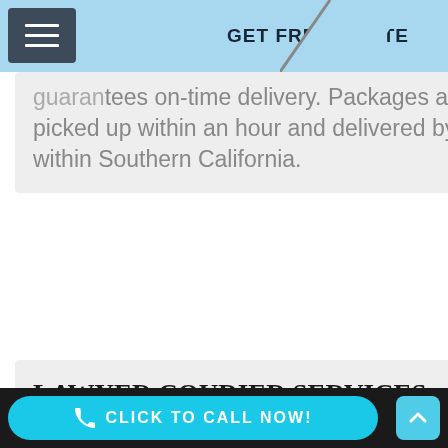GET FREE QUOTE
guarantees on-time delivery. Packages are usually picked up within an hour and delivered by 5pm anywhere within Southern California.
LAWYER COURIER SERVICES
We offer a variety of attorney services including court filings within Southern California with conformed copies emailed or delivered back same/next day; courtesy
CLICK TO CALL NOW!